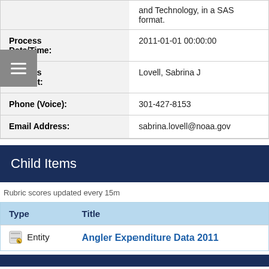| Field | Value |
| --- | --- |
|  | and Technology, in a SAS format. |
| Process Date/Time: | 2011-01-01 00:00:00 |
| Process Contact: | Lovell, Sabrina J |
| Phone (Voice): | 301-427-8153 |
| Email Address: | sabrina.lovell@noaa.gov |
Child Items
Rubric scores updated every 15m
| Type | Title |
| --- | --- |
| Entity | Angler Expenditure Data 2011 |